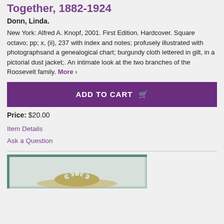Together, 1882-1924
Donn, Linda.
New York: Alfred A. Knopf, 2001. First Edition. Hardcover. Square octavo; pp; x, (ii), 237 with index and notes; profusely illustrated with photographsand a genealogical chart; burgundy cloth lettered in gilt, in a pictorial dust jacket;. An intimate look at the two branches of the Roosevelt family. More ›
ADD TO CART
Price: $20.00
Item Details
Ask a Question
[Figure (photo): Partial view of a historical photograph showing a person wearing a decorated hat, with teal/green border framing]